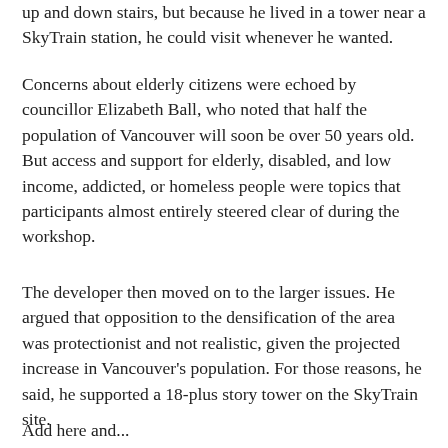up and down stairs, but because he lived in a tower near a SkyTrain station, he could visit whenever he wanted.
Concerns about elderly citizens were echoed by councillor Elizabeth Ball, who noted that half the population of Vancouver will soon be over 50 years old. But access and support for elderly, disabled, and low income, addicted, or homeless people were topics that participants almost entirely steered clear of during the workshop.
The developer then moved on to the larger issues. He argued that opposition to the densification of the area was protectionist and not realistic, given the projected increase in Vancouver's population. For those reasons, he said, he supported a 18-plus story tower on the SkyTrain site.
Add here and...